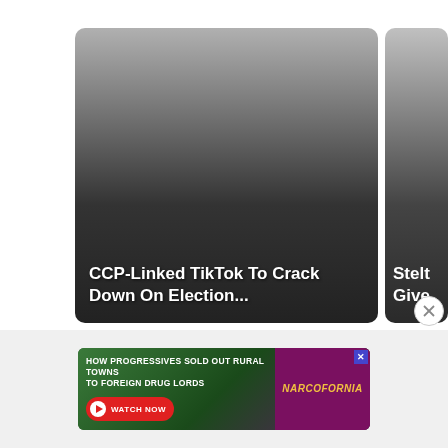[Figure (screenshot): Card carousel showing two article cards with dark gradient backgrounds. First card (main): 'CCP-Linked TikTok To Crack Down On Election...' Second card (partially visible): 'Stelt... Give...']
[Figure (screenshot): Advertisement banner: 'HOW PROGRESSIVES SOLD OUT RURAL TOWNS TO FOREIGN DRUG LORDS' with WATCH NOW button and NARCOFORNIA logo]